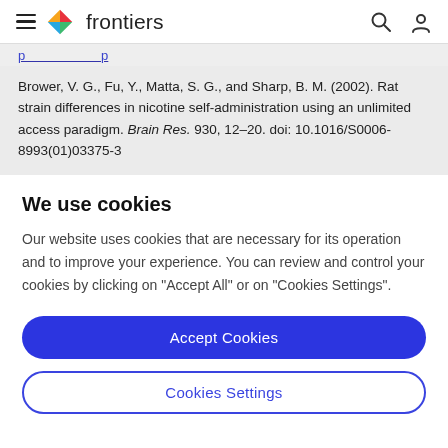frontiers
Brower, V. G., Fu, Y., Matta, S. G., and Sharp, B. M. (2002). Rat strain differences in nicotine self-administration using an unlimited access paradigm. Brain Res. 930, 12–20. doi: 10.1016/S0006-8993(01)03375-3
We use cookies
Our website uses cookies that are necessary for its operation and to improve your experience. You can review and control your cookies by clicking on "Accept All" or on "Cookies Settings".
Accept Cookies
Cookies Settings